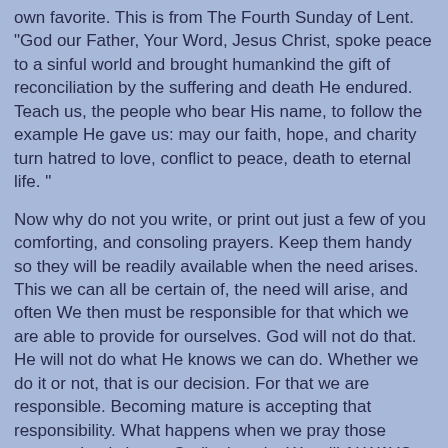own favorite. This is from The Fourth Sunday of Lent. "God our Father, Your Word, Jesus Christ, spoke peace to a sinful world and brought humankind the gift of reconciliation by the suffering and death He endured. Teach us, the people who bear His name, to follow the example He gave us: may our faith, hope, and charity turn hatred to love, conflict to peace, death to eternal life. "
Now why do not you write, or print out just a few of you comforting, and consoling prayers. Keep them handy so they will be readily available when the need arises. This we can all be certain of, the need will arise, and often We then must be responsible for that which we are able to provide for ourselves. God will not do that. He will not do what He knows we can do. Whether we do it or not, that is our decision. For that we are responsible. Becoming mature is accepting that responsibility. What happens when we pray those prayers that is in our God's domain. We will ALWAYS be given what we need not what we want. Gandhi word come to mind; “God will take care of our needs not our greed". Even into the spiritual life we find lust and greed. That is when we are honest!!!! "Honesty is progressive." But honest prayer will